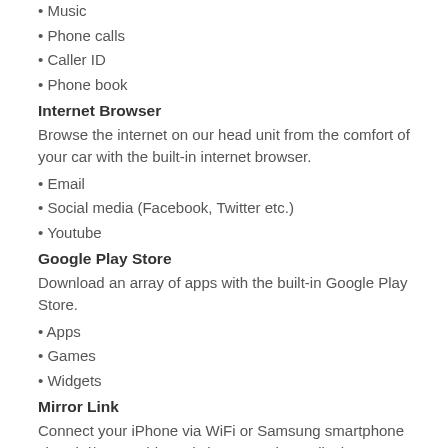• Music
• Phone calls
• Caller ID
• Phone book
Internet Browser
Browse the internet on our head unit from the comfort of your car with the built-in internet browser.
• Email
• Social media (Facebook, Twitter etc.)
• Youtube
Google Play Store
Download an array of apps with the built-in Google Play Store.
• Apps
• Games
• Widgets
Mirror Link
Connect your iPhone via WiFi or Samsung smartphone via WiFi/USB cable and view your phone display onscreen.